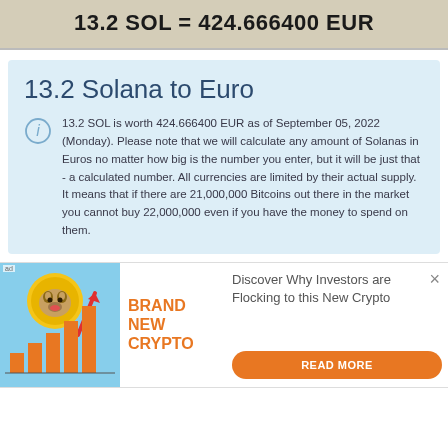13.2 SOL = 424.666400 EUR
13.2 Solana to Euro
13.2 SOL is worth 424.666400 EUR as of September 05, 2022 (Monday). Please note that we will calculate any amount of Solanas in Euros no matter how big is the number you enter, but it will be just that - a calculated number. All currencies are limited by their actual supply. It means that if there are 21,000,000 Bitcoins out there in the market you cannot buy 22,000,000 even if you have the money to spend on them.
[Figure (illustration): Advertisement banner with crypto dog coin illustration and bar chart showing upward trend. Text reads: BRAND NEW CRYPTO - Discover Why Investors are Flocking to this New Crypto - READ MORE button]